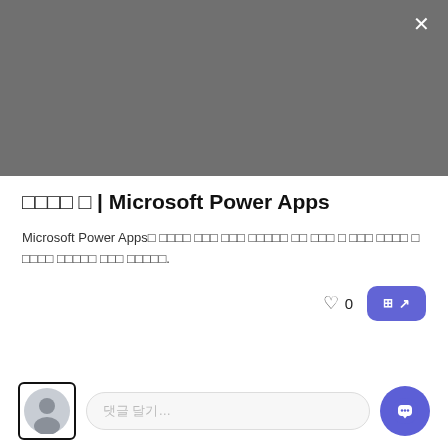[Figure (screenshot): Gray banner image area at top of modal dialog]
□□□□ □ | Microsoft Power Apps
Microsoft Power Apps□ □□□□ □□□ □□□ □□□□□ □□ □□□ □ □□□ □□□□ □ □□□□ □□□□□ □□□ □□□□□.
[Figure (screenshot): Like heart icon with count 0 and a purple visit/open button with grid icon and arrow, and a purple chat FAB button]